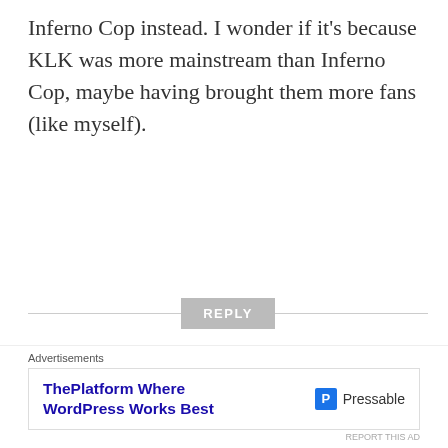Inferno Cop instead. I wonder if it's because KLK was more mainstream than Inferno Cop, maybe having brought them more fans (like myself).
REPLY
10 Things You Never Knew About The Making Of The Anime - Anufriev
JULY 20, 2020 AT 11:58 PM
[Figure (other): Close/dismiss button (circled X)]
Advertisements
[Figure (other): Advertisement banner: ThePlatform Where WordPress Works Best - Pressable]